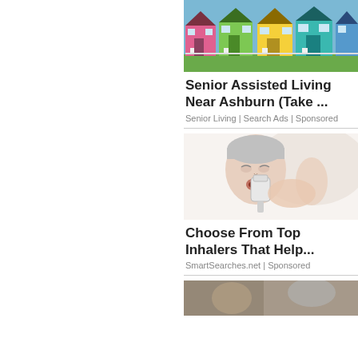[Figure (photo): Colorful row of houses (pink, green, yellow, teal) with white porches and green lawn]
Senior Assisted Living Near Ashburn (Take ...
Senior Living | Search Ads | Sponsored
[Figure (photo): Woman using an inhaler, eyes closed, short grey hair, light background]
Choose From Top Inhalers That Help...
SmartSearches.net | Sponsored
[Figure (photo): Partial photo visible at bottom of page]